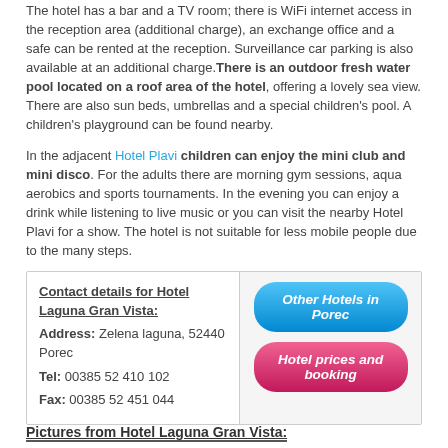The hotel has a bar and a TV room; there is WiFi internet access in the reception area (additional charge), an exchange office and a safe can be rented at the reception. Surveillance car parking is also available at an additional charge.There is an outdoor fresh water pool located on a roof area of the hotel, offering a lovely sea view. There are also sun beds, umbrellas and a special children's pool. A children's playground can be found nearby.
In the adjacent Hotel Plavi children can enjoy the mini club and mini disco. For the adults there are morning gym sessions, aqua aerobics and sports tournaments. In the evening you can enjoy a drink while listening to live music or you can visit the nearby Hotel Plavi for a show. The hotel is not suitable for less mobile people due to the many steps.
| Contact details | Buttons |
| --- | --- |
| Contact details for Hotel Laguna Gran Vista:
Address: Zelena laguna, 52440 Porec
Tel: 00385 52 410 102
Fax: 00385 52 451 044 | Other Hotels in Porec | Hotel prices and booking |
Pictures from Hotel Laguna Gran Vista: